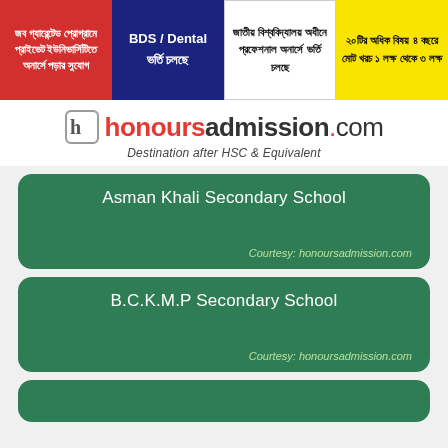[Figure (infographic): Four promotional banners in a row: red banner about job guarantee program at private universities, dark blue banner about BDS/Dental admission ongoing, white banner about National University professional honours admission, yellow banner about 20+ subjects with 4-year total cost 1 lakh to 3 lakh]
[Figure (logo): honoursadmission.com logo with tagline 'Destination after HSC & Equivalent']
Asman Khali Secondary School
Courtesy: honoursadmission.com
B.C.K.M.P Secondary School
Courtesy: honoursadmission.com